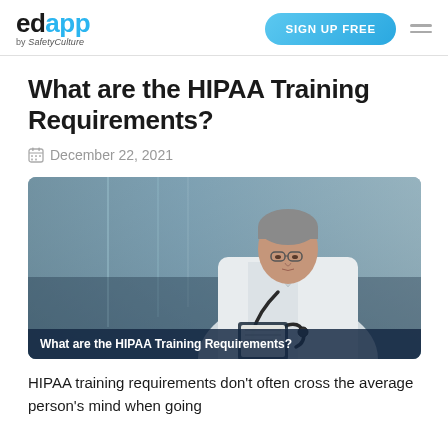edapp by SafetyCulture | SIGN UP FREE
What are the HIPAA Training Requirements?
December 22, 2021
[Figure (photo): A doctor in a white coat with a stethoscope looking down, reviewing documents, with the caption 'What are the HIPAA Training Requirements?']
HIPAA training requirements don't often cross the average person's mind when going